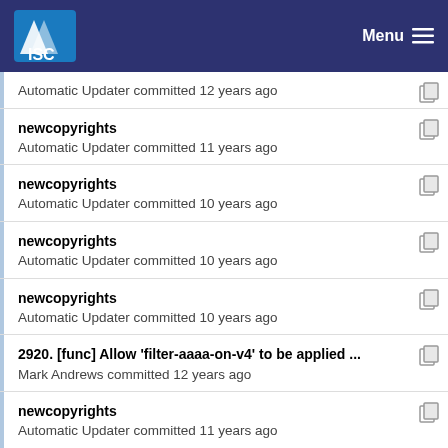ISC Menu
newcopyrights
Automatic Updater committed 12 years ago
newcopyrights
Automatic Updater committed 11 years ago
newcopyrights
Automatic Updater committed 10 years ago
newcopyrights
Automatic Updater committed 10 years ago
newcopyrights
Automatic Updater committed 10 years ago
2920. [func] Allow 'filter-aaaa-on-v4' to be applied ...
Mark Andrews committed 12 years ago
newcopyrights
Automatic Updater committed 11 years ago
2920. [func] Allow 'filter-aaaa-on-v4' to be applied ...